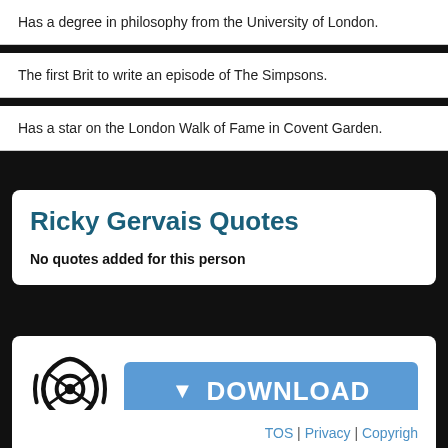Has a degree in philosophy from the University of London.
The first Brit to write an episode of The Simpsons.
Has a star on the London Walk of Fame in Covent Garden.
Ricky Gervais Quotes
No quotes added for this person
[Figure (logo): Eye/lens logo icon in black and white]
DOWNLOAD
TOS | Privacy | Copyright